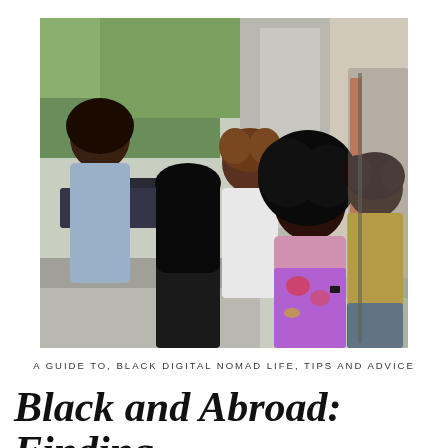[Figure (photo): Five Black women laughing and smiling together outdoors on a city street, hugging and having fun. Urban background with buildings, trees, and parked cars visible.]
A GUIDE TO, BLACK DIGITAL NOMAD LIFE, TIPS AND ADVICE
Black and Abroad: Finding